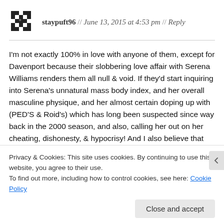staypuft96 // June 13, 2015 at 4:53 pm // Reply
I'm not exactly 100% in love with anyone of them, except for Davenport because their slobbering love affair with Serena Williams renders them all null & void. If they'd start inquiring into Serena's unnatural mass body index, and her overall masculine physique, and her almost certain doping up with (PED'S & Roid's) which has long been suspected since way back in the 2000 season, and also, calling her out on her cheating, dishonesty, & hypocrisy! And I also believe that they should be calling for an independent investigation into
Privacy & Cookies: This site uses cookies. By continuing to use this website, you agree to their use.
To find out more, including how to control cookies, see here: Cookie Policy